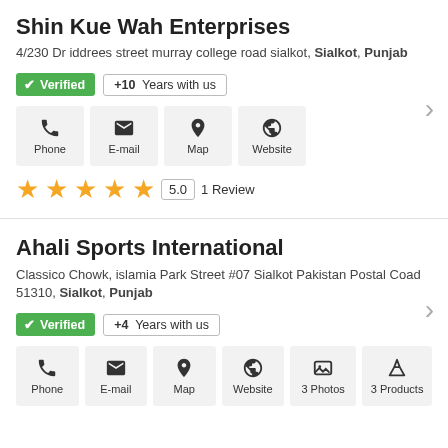Shin Kue Wah Enterprises
4/230 Dr iddrees street murray college road sialkot, Sialkot, Punjab
Verified | +10 Years with us
[Figure (infographic): Contact icons: Phone, E-mail, Map, Website]
★★★★★ 5.0 1 Review
Ahali Sports International
Classico Chowk, islamia Park Street #07 Sialkot Pakistan Postal Coad 51310, Sialkot, Punjab
Verified | +4 Years with us
[Figure (infographic): Contact icons: Phone, E-mail, Map, Website, Photos 3, Products 3]